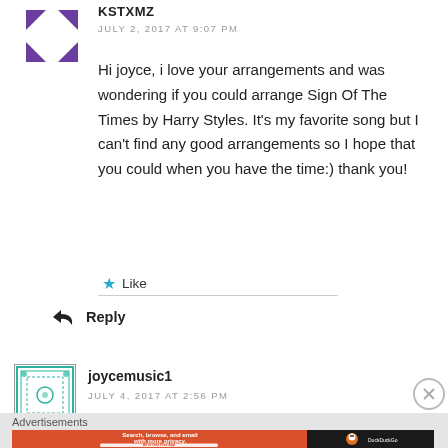[Figure (logo): Purple geometric avatar icon made of triangular arrow shapes]
KSTXMZ
JULY 2, 2017 AT 9:07 PM
Hi joyce, i love your arrangements and was wondering if you could arrange Sign Of The Times by Harry Styles. It's my favorite song but I can't find any good arrangements so I hope that you could when you have the time:) thank you!
★ Like
↩ Reply
[Figure (logo): Green teal decorative square avatar icon with ornamental border pattern]
joycemusic1
JULY 4, 2017 AT 2:56 PM
Advertisements
[Figure (screenshot): DuckDuckGo advertisement banner: Search, browse, and email with more privacy. All in One Free App. Orange and dark background with duck logo.]